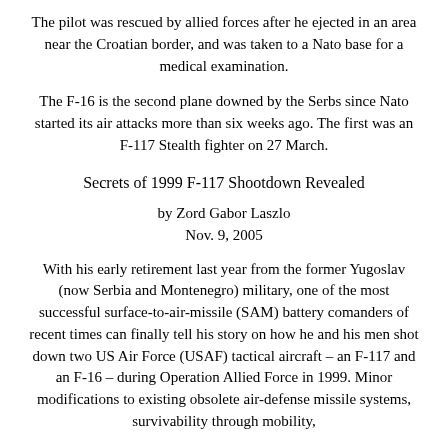The pilot was rescued by allied forces after he ejected in an area near the Croatian border, and was taken to a Nato base for a medical examination.
The F-16 is the second plane downed by the Serbs since Nato started its air attacks more than six weeks ago. The first was an F-117 Stealth fighter on 27 March.
Secrets of 1999 F-117 Shootdown Revealed
by Zord Gabor Laszlo
Nov. 9, 2005
With his early retirement last year from the former Yugoslav (now Serbia and Montenegro) military, one of the most successful surface-to-air-missile (SAM) battery comanders of recent times can finally tell his story on how he and his men shot down two US Air Force (USAF) tactical aircraft – an F-117 and an F-16 – during Operation Allied Force in 1999. Minor modifications to existing obsolete air-defense missile systems, survivability through mobility,